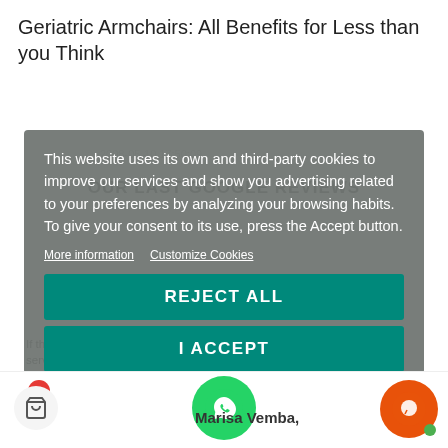Geriatric Armchairs: All Benefits for Less than you Think
This website uses its own and third-party cookies to improve our services and show you advertising related to your preferences by analyzing your browsing habits. To give your consent to its use, press the Accept button.
More information   Customize Cookies
REJECT ALL
I ACCEPT
OUR LAST GOOGLE REVIEWS
If there were 100000000000000 stars I would give this store. The service and seriousness are incomparable!!!
Marisa Vemba,